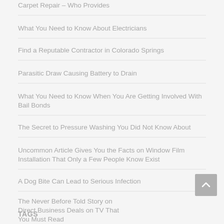Carpet Repair – Who Provides
What You Need to Know About Electricians
Find a Reputable Contractor in Colorado Springs
Parasitic Draw Causing Battery to Drain
What You Need to Know When You Are Getting Involved With Bail Bonds
The Secret to Pressure Washing You Did Not Know About
Uncommon Article Gives You the Facts on Window Film Installation That Only a Few People Know Exist
A Dog Bite Can Lead to Serious Infection
The Never Before Told Story on Direct Business Deals on TV That You Must Read
TAGS